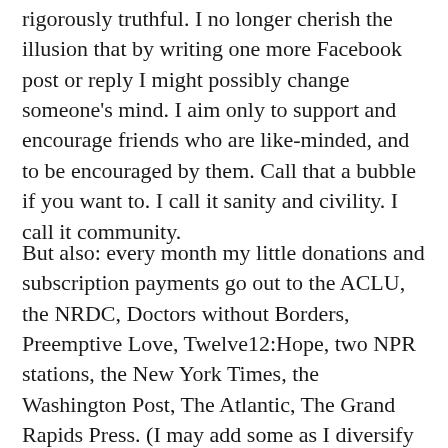rigorously truthful. I no longer cherish the illusion that by writing one more Facebook post or reply I might possibly change someone's mind. I aim only to support and encourage friends who are like-minded, and to be encouraged by them. Call that a bubble if you want to. I call it sanity and civility. I call it community.
But also: every month my little donations and subscription payments go out to the ACLU, the NRDC, Doctors without Borders, Preemptive Love, Twelve12:Hope, two NPR stations, the New York Times, the Washington Post, The Atlantic, The Grand Rapids Press. (I may add some as I diversify the portfolio further.)